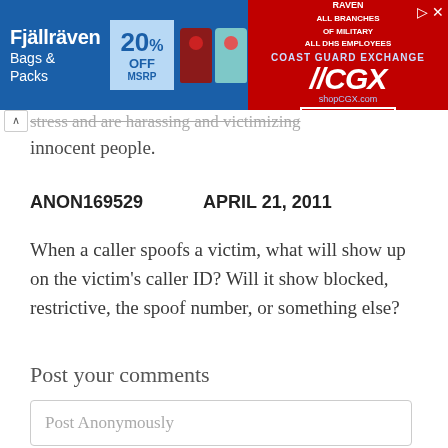[Figure (screenshot): Advertisement banner for Fjällräven bags and packs with 20% off MSRP, showing Fjäll Raven and CGX logos with a SHOP NOW button]
stress and are harassing and victimizing innocent people.
ANON169529    APRIL 21, 2011
When a caller spoofs a victim, what will show up on the victim's caller ID? Will it show blocked, restrictive, the spoof number, or something else?
Post your comments
Post Anonymously